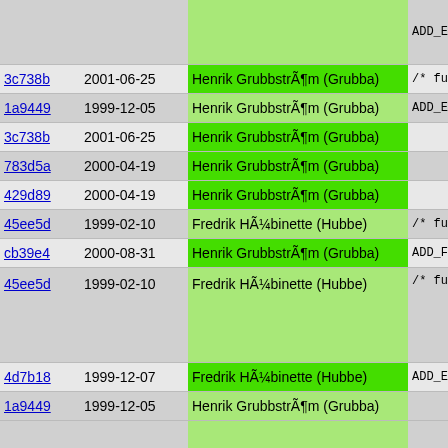| hash | date | author | code |
| --- | --- | --- | --- |
|  |  |  | ADD_EFUN |
| 3c738b | 2001-06-25 | Henrik GrubbstrÃ¶m (Grubba) | /* functio |
| 1a9449 | 1999-12-05 | Henrik GrubbstrÃ¶m (Grubba) | ADD_EFUN |
| 3c738b | 2001-06-25 | Henrik GrubbstrÃ¶m (Grubba) |  |
| 783d5a | 2000-04-19 | Henrik GrubbstrÃ¶m (Grubba) |  |
| 429d89 | 2000-04-19 | Henrik GrubbstrÃ¶m (Grubba) |  |
| 45ee5d | 1999-02-10 | Fredrik HÃ¼binette (Hubbe) | /* funct |
| cb39e4 | 2000-08-31 | Henrik GrubbstrÃ¶m (Grubba) | ADD_FUNC |
| 45ee5d | 1999-02-10 | Fredrik HÃ¼binette (Hubbe) | /* functio
ADD_EFUN

/* functio |
| 4d7b18 | 1999-12-07 | Fredrik HÃ¼binette (Hubbe) | ADD_EFUN |
| 1a9449 | 1999-12-05 | Henrik GrubbstrÃ¶m (Grubba) |  |
| 8c953a | 2001-03-28 | Henrik GrubbstrÃ¶m (Grubba) |  |